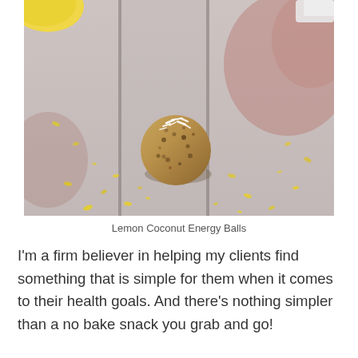[Figure (photo): A close-up photo of a lemon coconut energy ball on a weathered wooden surface, with shredded coconut on top and scattered yellow lemon zest pieces around it. A yellow lemon is partially visible in the upper left corner and a red/pink object is partially visible in the upper right.]
Lemon Coconut Energy Balls
I'm a firm believer in helping my clients find something that is simple for them when it comes to their health goals. And there's nothing simpler than a no bake snack you grab and go!